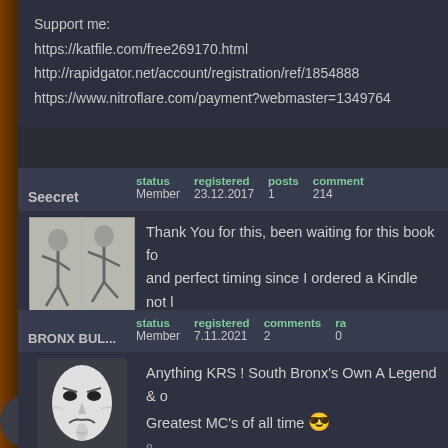Support me:
https://katfile.com/free269170.html
http://rapidgator.net/account/registration/ref/1854888
https://www.nitroflare.com/payment?webmaster=1349764
|  | status | registered | posts | comments |
| --- | --- | --- | --- | --- |
| Seecret | Member | 23.12.2017 | 1 | 214 |
Thank You for this, been waiting for this book fo... and perfect timing since I ordered a Kindle not l...
|  | status | registered | comments | ra... |
| --- | --- | --- | --- | --- |
| BRONX BUL... | Member | 7.11.2021 | 2 | 0 |
Anything KRS ! South Bronx's Own A Legend & ... Greatest MC's of all time 😎